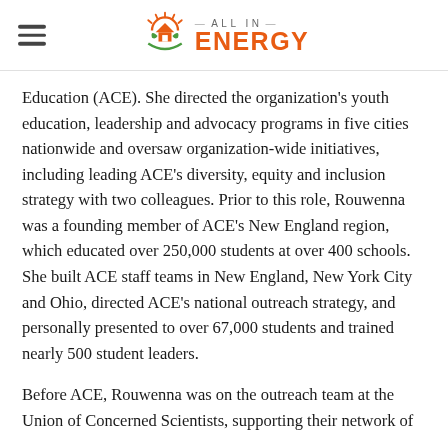All In Energy logo with hamburger menu
Education (ACE). She directed the organization's youth education, leadership and advocacy programs in five cities nationwide and oversaw organization-wide initiatives, including leading ACE's diversity, equity and inclusion strategy with two colleagues. Prior to this role, Rouwenna was a founding member of ACE's New England region, which educated over 250,000 students at over 400 schools. She built ACE staff teams in New England, New York City and Ohio, directed ACE's national outreach strategy, and personally presented to over 67,000 students and trained nearly 500 student leaders.
Before ACE, Rouwenna was on the outreach team at the Union of Concerned Scientists, supporting their network of